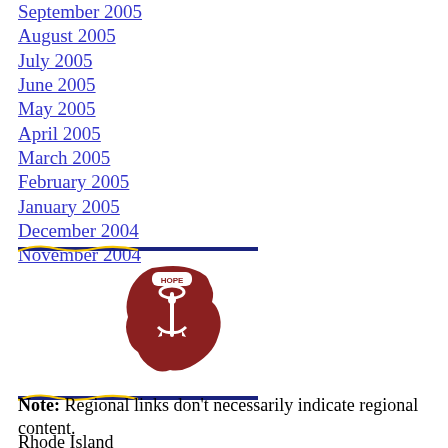September 2005
August 2005
July 2005
June 2005
May 2005
April 2005
March 2005
February 2005
January 2005
December 2004
November 2004
[Figure (logo): Rhode Island state logo with anchor and HOPE text in dark red/maroon color]
Note: Regional links don't necessarily indicate regional content.
Rhode Island
Blogs